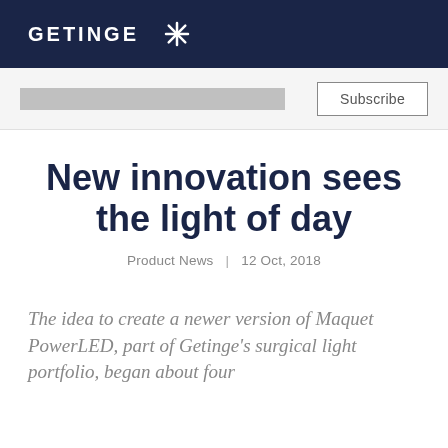GETINGE *
Subscribe
New innovation sees the light of day
Product News  |  12 Oct, 2018
The idea to create a newer version of Maquet PowerLED, part of Getinge's surgical light portfolio, began about four